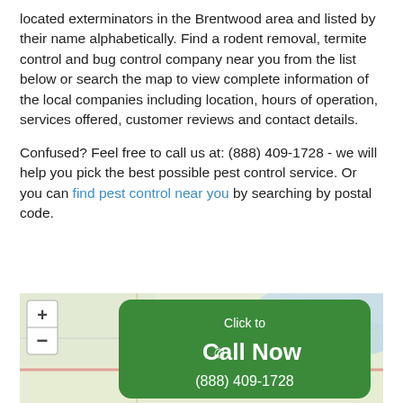located exterminators in the Brentwood area and listed by their name alphabetically. Find a rodent removal, termite control and bug control company near you from the list below or search the map to view complete information of the local companies including location, hours of operation, services offered, customer reviews and contact details.
Confused? Feel free to call us at: (888) 409-1728 - we will help you pick the best possible pest control service. Or you can find pest control near you by searching by postal code.
[Figure (map): Map of Brentwood area with zoom controls (+/-) and a green 'Click to Call Now (888) 409-1728' button overlay]